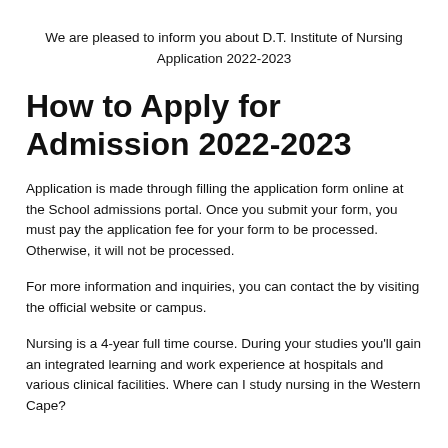We are pleased to inform you about D.T. Institute of Nursing Application 2022-2023
How to Apply for Admission 2022-2023
Application is made through filling the application form online at the School admissions portal. Once you submit your form, you must pay the application fee for your form to be processed. Otherwise, it will not be processed.
For more information and inquiries, you can contact the by visiting the official website or campus.
Nursing is a 4-year full time course. During your studies you'll gain an integrated learning and work experience at hospitals and various clinical facilities. Where can I study nursing in the Western Cape?